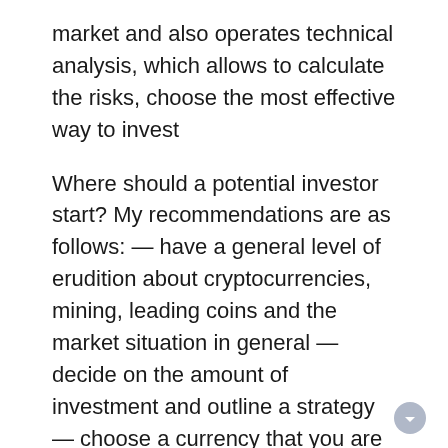market and also operates technical analysis, which allows to calculate the risks, choose the most effective way to invest
Where should a potential investor start? My recommendations are as follows: — have a general level of erudition about cryptocurrencies, mining, leading coins and the market situation in general — decide on the amount of investment and outline a strategy — choose a currency that you are not afraid to lose, respectively — do not necessarily chase the BTC, It is worth to have a closer look to beginners and prospective ones, which are traded in the range of 100 USD per unit,